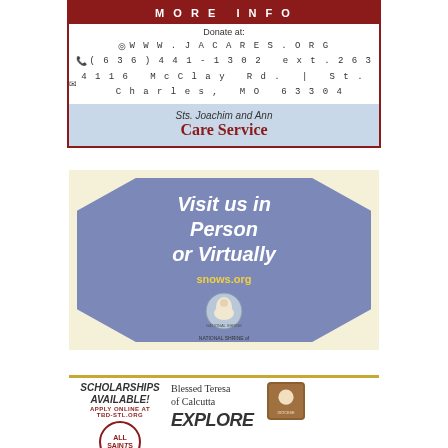[Figure (infographic): Sts. Joachim and Ann Care Service advertisement with red MORE INFO button, contact info (www.jacares.org, (636)441-1302 ext.263, 4116 McClay Rd. | St. Charles, MO 63304), and blue-gray footer]
[Figure (infographic): National Shrine of Our Lady of Snow advertisement with octagon shape on cream background, text 'Visit us in Person or Virtually', snows.org URL, and logo]
[Figure (infographic): All Saints / Blessed Teresa of Calcutta school advertisement with scholarships available text, All Saints circle logo, Blessed Teresa name, EXPLORE text, and diocese badge]